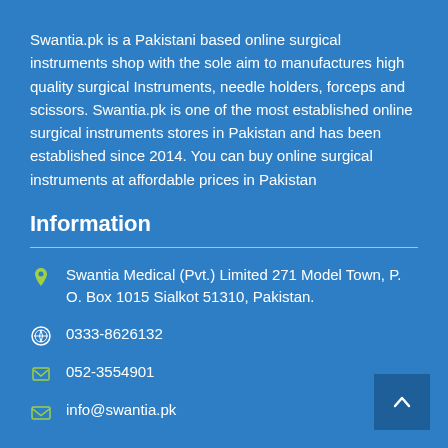Swantia.pk is a Pakistani based online surgical instruments shop with the sole aim to manufactures high quality surgical Instruments, needle holders, forceps and scissors. Swantia.pk is one of the most established online surgical instruments stores in Pakistan and has been established since 2014. You can buy online surgical instruments at affordable prices in Pakistan
Information
Swantia Medical (Pvt.) Limited 271 Model Town, P. O. Box 1015 Sialkot 51310, Pakistan.
0333-8626132
052-3554901
info@swantia.pk